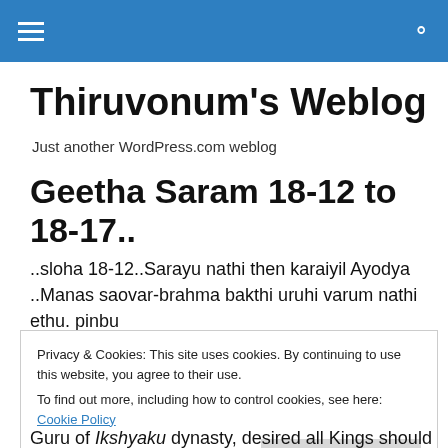Thiruvonum's Weblog — navigation bar
Thiruvonum's Weblog
Just another WordPress.com weblog
Geetha Saram 18-12 to 18-17..
..sloha 18-12..Sarayu nathi then karaiyil Ayodya ..Manas saovar-brahma bakthi uruhi varum nathi ethu. pinbu
Privacy & Cookies: This site uses cookies. By continuing to use this website, you agree to their use.
To find out more, including how to control cookies, see here: Cookie Policy
Close and accept
Guru of Ikshyaku dynasty, desired all Kings should got the